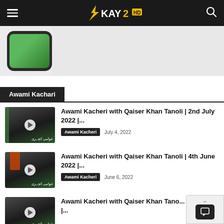KAY2 HD
[Figure (photo): Advertisement banner showing a smartphone with green screen on grey background]
Awami Kachari
[Figure (photo): Thumbnail for Awami Kacheri episode 2nd July 2022 with play button]
Awami Kacheri with Qaiser Khan Tanoli | 2nd July 2022 |...
Awami Kacheri  July 4, 2022
[Figure (photo): Thumbnail for Awami Kacheri episode 4th June 2022 with play button]
Awami Kacheri with Qaiser Khan Tanoli | 4th June 2022 |...
Awami Kacheri  June 6, 2022
[Figure (photo): Thumbnail for Awami Kacheri episode May 2022 with play button]
Awami Kacheri with Qaiser Khan Tano... May 2022 |...